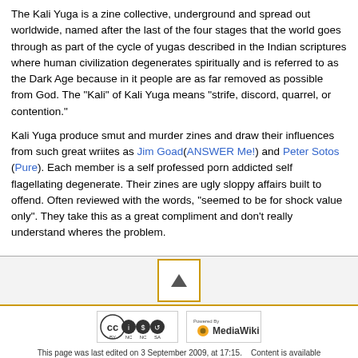The Kali Yuga is a zine collective, underground and spread out worldwide, named after the last of the four stages that the world goes through as part of the cycle of yugas described in the Indian scriptures where human civilization degenerates spiritually and is referred to as the Dark Age because in it people are as far removed as possible from God. The "Kali" of Kali Yuga means "strife, discord, quarrel, or contention."
Kali Yuga produce smut and murder zines and draw their influences from such great wriites as Jim Goad(ANSWER Me!) and Peter Sotos (Pure). Each member is a self professed porn addicted self flagellating degenerate. Their zines are ugly sloppy affairs built to offend. Often reviewed with the words, "seemed to be for shock value only". They take this as a great compliment and don't really understand wheres the problem.
[Figure (other): Back to top button with upward triangle arrow, orange/gold border]
[Figure (logo): Creative Commons BY-NC-SA license badge]
[Figure (logo): Powered by MediaWiki badge]
This page was last edited on 3 September 2009, at 17:15.    Content is available under Attribution-Noncommercial-Share Alike 3.0 Unported unless otherwise noted.   Privacy policy    About ZineWiki    Disclaimers